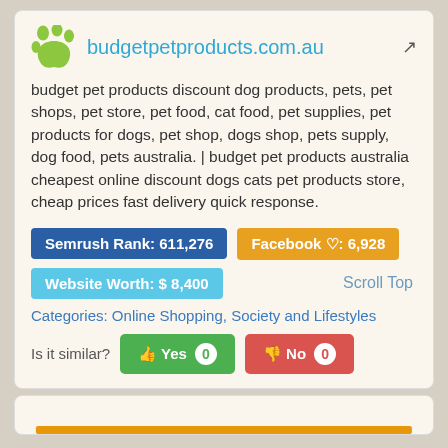[Figure (logo): Green paw print icon]
budgetpetproducts.com.au
budget pet products discount dog products, pets, pet shops, pet store, pet food, cat food, pet supplies, pet products for dogs, pet shop, dogs shop, pets supply, dog food, pets australia. | budget pet products australia cheapest online discount dogs cats pet products store, cheap prices fast delivery quick response.
Semrush Rank: 611,276
Facebook ♡: 6,928
Website Worth: $ 8,400
Scroll Top
Categories: Online Shopping, Society and Lifestyles
Is it similar?
Yes 0
No 0